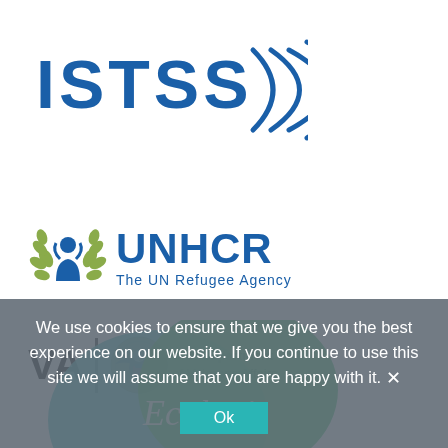[Figure (logo): ISTSS logo with blue text 'ISTSS' and concentric arc signal waves in blue]
[Figure (logo): UNHCR logo with olive wreath and person symbol icon, blue text 'UNHCR' and subtitle 'The UN Refugee Agency']
[Figure (logo): U.S. Department of Veterans Affairs logo with bold 'VA', decorative seal, and text 'U.S. Department of Veterans Affairs']
[Figure (logo): Ecologi logo with green blob shapes and italic white text 'Ecologi']
We use cookies to ensure that we give you the best experience on our website. If you continue to use this site we will assume that you are happy with it.
Ok